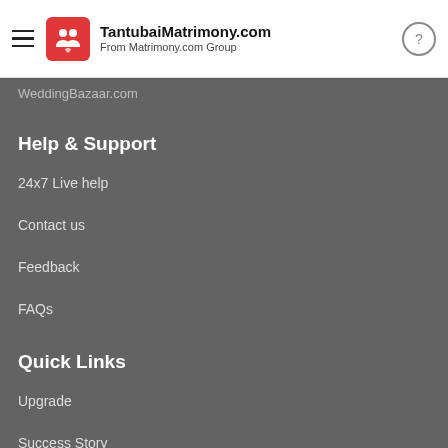TantubaiMatrimony.com From Matrimony.com Group
WeddingBazaar.com
Help & Support
24x7 Live help
Contact us
Feedback
FAQs
Quick Links
Upgrade
Success Story